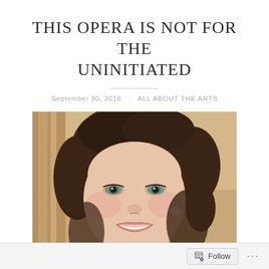THIS OPERA IS NOT FOR THE UNINITIATED
September 30, 2016  ·  ALL ABOUT THE ARTS
[Figure (photo): Headshot of a smiling woman with dark brown hair, green eyes, a pearl earring, and a pink collar/scarf, photographed against a warm beige background.]
Follow  ...